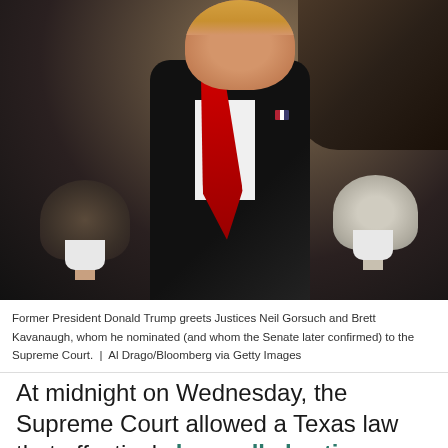[Figure (photo): Former President Donald Trump greets two Supreme Court Justices (Neil Gorsuch and Brett Kavanaugh) who have their backs to camera, wearing black robes with white collars. Trump wears a black suit with a red tie and has an animated expression.]
Former President Donald Trump greets Justices Neil Gorsuch and Brett Kavanaugh, whom he nominated (and whom the Senate later confirmed) to the Supreme Court.  |  Al Drago/Bloomberg via Getty Images
At midnight on Wednesday, the Supreme Court allowed a Texas law that effectively bans all abortions after six weeks of pregnancy to take effect.